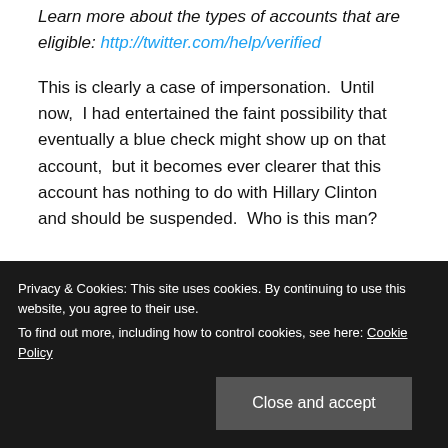Learn more about the types of accounts that are eligible: http://twitter.com/help/verified
This is clearly a case of impersonation.  Until now,  I had entertained the faint possibility that eventually a blue check might show up on that account,  but it becomes ever clearer that this account has nothing to do with Hillary Clinton and should be suspended.  Who is this man?
**Edited to add:  See comment thread below where Uppity Woman busted him.
Privacy & Cookies: This site uses cookies. By continuing to use this website, you agree to their use. To find out more, including how to control cookies, see here: Cookie Policy